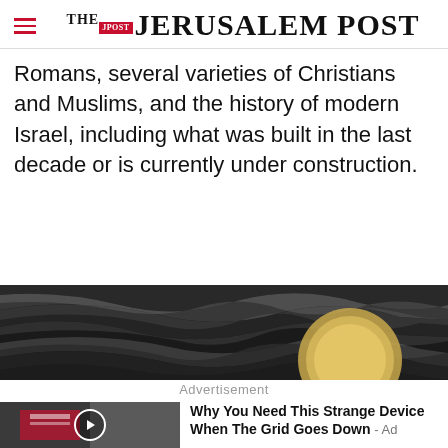THE JERUSALEM POST
Romans, several varieties of Christians and Muslims, and the history of modern Israel, including what was built in the last decade or is currently under construction.
[Figure (photo): Close-up abstract image with black and white swirling texture and partial circular gold/yellow shape, used as advertisement banner image]
Advertisement
Why You Need This Strange Device When The Grid Goes Down - Ad